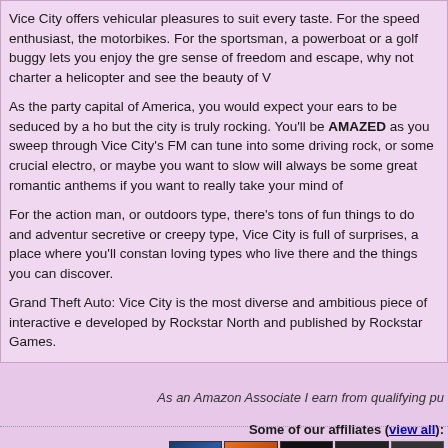Vice City offers vehicular pleasures to suit every taste. For the speed enthusiast, the motorbikes. For the sportsman, a powerboat or a golf buggy lets you enjoy the gre sense of freedom and escape, why not charter a helicopter and see the beauty of V
As the party capital of America, you would expect your ears to be seduced by a ho but the city is truly rocking. You'll be AMAZED as you sweep through Vice City's FM can tune into some driving rock, or some crucial electro, or maybe you want to slow will always be some great romantic anthems if you want to really take your mind of
For the action man, or outdoors type, there's tons of fun things to do and adventur secretive or creepy type, Vice City is full of surprises, a place where you'll constan loving types who live there and the things you can discover.
Grand Theft Auto: Vice City is the most diverse and ambitious piece of interactive e developed by Rockstar North and published by Rockstar Games.
As an Amazon Associate I earn from qualifying pu
Some of our affiliates (view all):
[Figure (screenshot): GTA-Series.com affiliate banner]
[Figure (screenshot): GTA Chronicles.com affiliate banner]
[Figure (screenshot): CodenamegTA affiliate banner]
[Figure (screenshot): Payne Reactor affiliate banner]
[Figure (screenshot): Fifth affiliate banner (partial)]